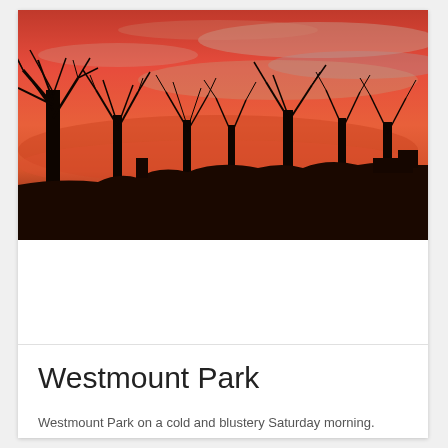[Figure (photo): Photograph of a dramatic red and orange sunset sky with silhouetted bare winter trees and rooftops in the foreground at Westmount Park.]
Westmount Park
Westmount Park on a cold and blustery Saturday morning.